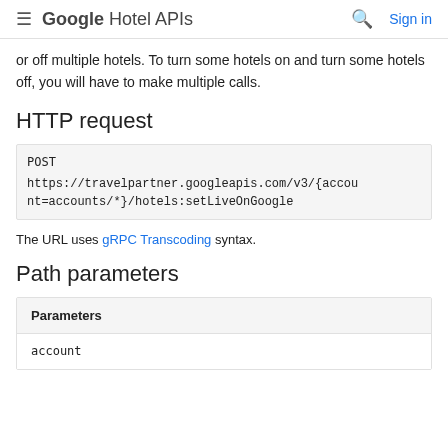Google Hotel APIs  Sign in
or off multiple hotels. To turn some hotels on and turn some hotels off, you will have to make multiple calls.
HTTP request
POST
https://travelpartner.googleapis.com/v3/{account=accounts/*}/hotels:setLiveOnGoogle
The URL uses gRPC Transcoding syntax.
Path parameters
| Parameters |
| --- |
| account |